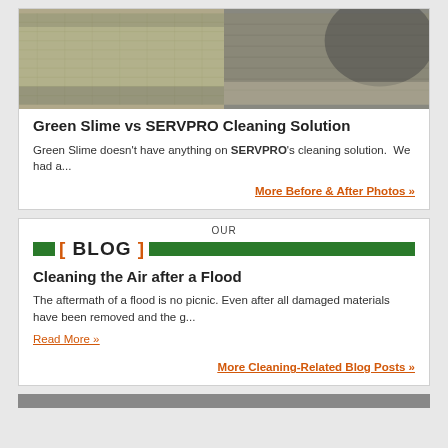[Figure (photo): Before and after photos of car seat upholstery — left shows light beige fabric, right shows gray/dark fabric, side by side]
Green Slime vs SERVPRO Cleaning Solution
Green Slime doesn't have anything on SERVPRO's cleaning solution.  We had a...
More Before & After Photos »
OUR BLOG
Cleaning the Air after a Flood
The aftermath of a flood is no picnic. Even after all damaged materials have been removed and the g...
Read More »
More Cleaning-Related Blog Posts »